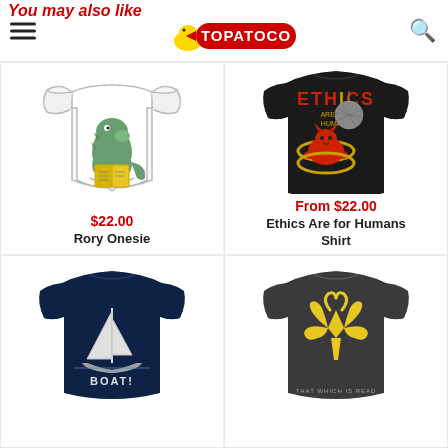TOPATOCO (navigation header with hamburger menu and search icon)
You may also like
[Figure (photo): Rory Onesie — white baby onesie with a cartoon dinosaur reading a book]
$22.00
Rory Onesie
[Figure (photo): Ethics Are for Humans Shirt — black t-shirt with red cat, disco ball, and text ETHICS ARE FOR HUMANS]
From $22.00
Ethics Are for Humans Shirt
[Figure (photo): Navy blue t-shirt with white sailboat illustration and text BOAT!]
[Figure (photo): Dark grey t-shirt with yellow squid/fleur-de-lis design and text THAT WHICH IS READ]